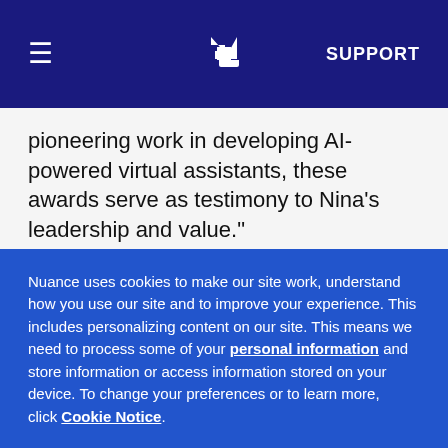≡  [Nuance logo]  SUPPORT
pioneering work in developing AI-powered virtual assistants, these awards serve as testimony to Nina's leadership and value."
There are over 6,500 enterprises using Nuance's self-service technologies, processing an estimated 14 billion transactions each year. Nuance is the only vendor to combine the tooling, intelligence and
Nuance uses cookies to make our site work, understand how you use our site and to improve your experience. This includes personalizing content on our site. This means we need to process some of your personal information and store information or access information stored on your device. To change your preferences or to learn more, click Cookie Notice.